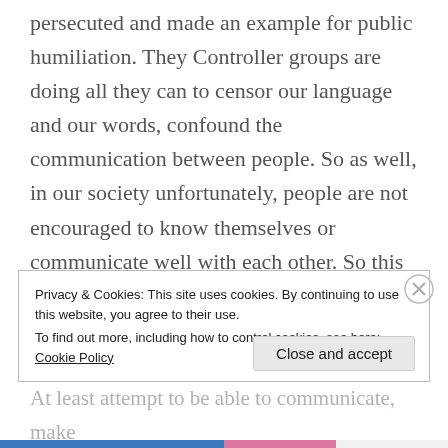persecuted and made an example for public humiliation. They Controller groups are doing all they can to censor our language and our words, confound the communication between people. So as well, in our society unfortunately, people are not encouraged to know themselves or communicate well with each other. So this is really what I want to leave with you, with this information, is to know yourself deeply and learn how to communicate well. At least attempt to be able to communicate, make
Privacy & Cookies: This site uses cookies. By continuing to use this website, you agree to their use. To find out more, including how to control cookies, see here: Cookie Policy